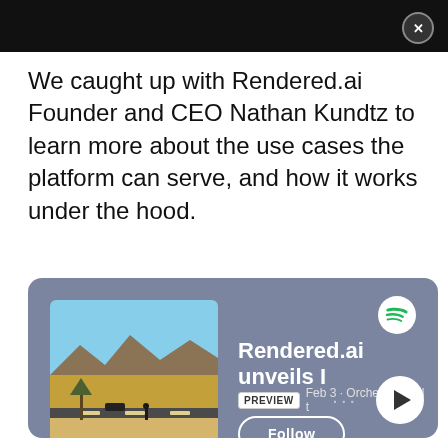We caught up with Rendered.ai Founder and CEO Nathan Kundtz to learn more about the use cases the platform can serve, and how it works under the hood.
[Figure (screenshot): Spotify podcast embed card with dark blue-grey background showing a podcast titled 'Rendered.ai unveils I' with album art of a desert landscape, a PREVIEW badge, date 'Feb 3 · Orchestrate all t', a Follow button, and playback controls at the bottom right including a play button.]